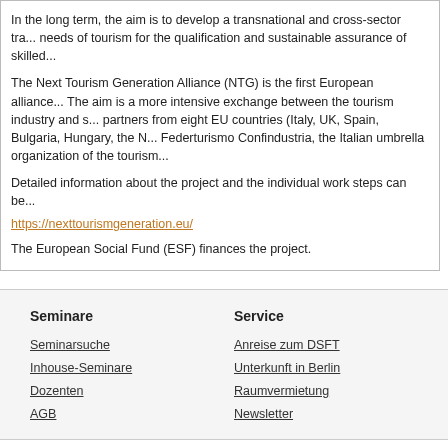In the long term, the aim is to develop a transnational and cross-sector tra... needs of tourism for the qualification and sustainable assurance of skilled...
The Next Tourism Generation Alliance (NTG) is the first European alliance... The aim is a more intensive exchange between the tourism industry and s... partners from eight EU countries (Italy, UK, Spain, Bulgaria, Hungary, the N... Federturismo Confindustria, the Italian umbrella organization of the tourism...
Detailed information about the project and the individual work steps can be...
https://nexttourismgeneration.eu/
The European Social Fund (ESF) finances the project.
Seminare
Service
Seminarsuche
Inhouse-Seminare
Dozenten
AGB
Anreise zum DSFT
Unterkunft in Berlin
Raumvermietung
Newsletter
© 2022 Deutsches Seminar für Tourismus (DSFT) Berlin e. V.